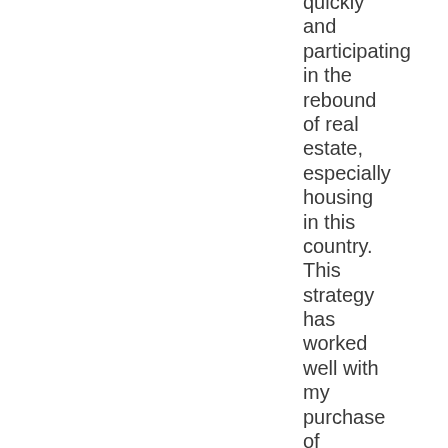quickly and participating in the rebound of real estate, especially housing in this country. This strategy has worked well with my purchase of Lumber Liquidators (LL) which also is involved in flooring but hardwood